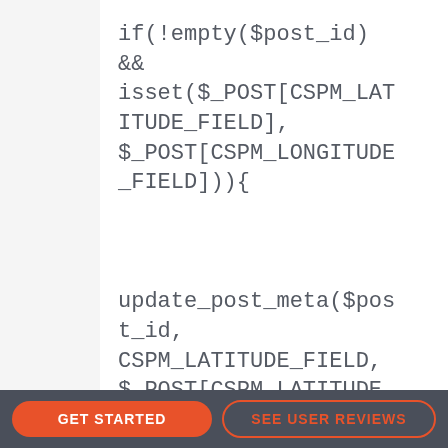if(!empty($post_id)
&&
isset($_POST[CSPM_LATITUDE_FIELD],
$_POST[CSPM_LONGITUDE_FIELD])){


update_post_meta($post_id,
CSPM_LATITUDE_FIELD,
$_POST[CSPM_LATITUDE_FIELD]); // Latitude
GET STARTED   SEE USER REVIEWS